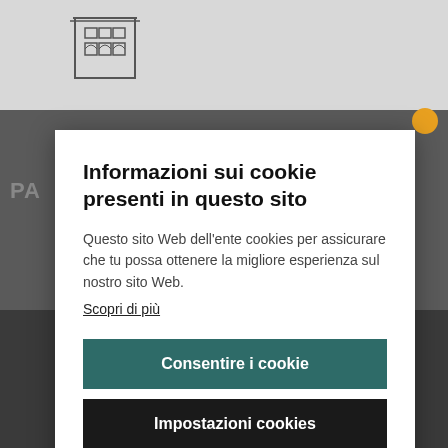[Figure (screenshot): Website background showing a navigation bar with a building/palazzo logo at top, dark gray background with a decorative plate partially visible at the bottom]
Informazioni sui cookie presenti in questo sito
Questo sito Web dell'ente cookies per assicurare che tu possa ottenere la migliore esperienza sul nostro sito Web.
Scopri di più
Consentire i cookie
Impostazioni cookies